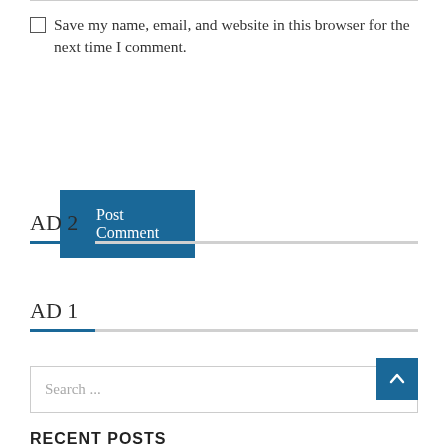Save my name, email, and website in this browser for the next time I comment.
Post Comment
AD 2
AD 1
Search ...
RECENT POSTS